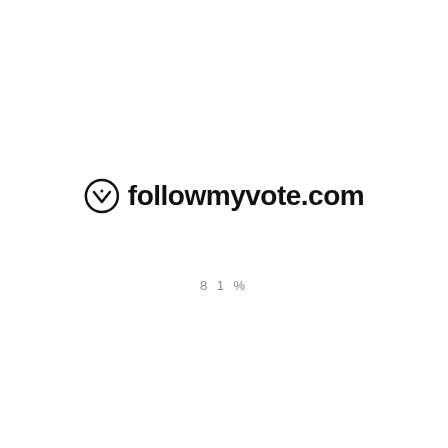[Figure (logo): followmyvote.com logo with a circular checkmark icon on the left and bold text 'followmyvote.com' on the right]
81%